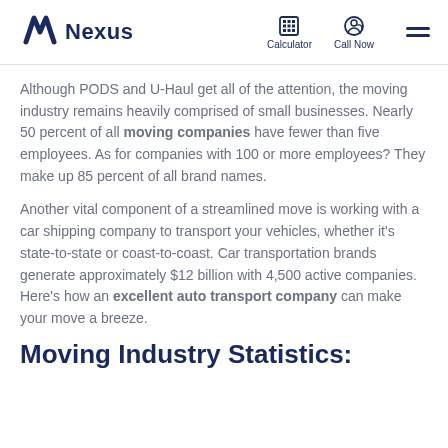Nexus | Calculator | Call Now
Although PODS and U-Haul get all of the attention, the moving industry remains heavily comprised of small businesses. Nearly 50 percent of all moving companies have fewer than five employees. As for companies with 100 or more employees? They make up 85 percent of all brand names.
Another vital component of a streamlined move is working with a car shipping company to transport your vehicles, whether it's state-to-state or coast-to-coast. Car transportation brands generate approximately $12 billion with 4,500 active companies. Here's how an excellent auto transport company can make your move a breeze.
Moving Industry Statistics: